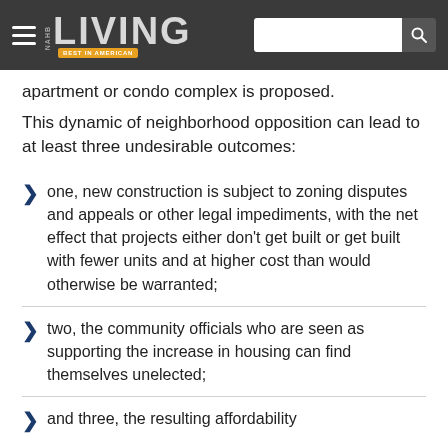NAHB LIVING — Best in American Living
apartment or condo complex is proposed.
This dynamic of neighborhood opposition can lead to at least three undesirable outcomes:
one, new construction is subject to zoning disputes and appeals or other legal impediments, with the net effect that projects either don't get built or get built with fewer units and at higher cost than would otherwise be warranted;
two, the community officials who are seen as supporting the increase in housing can find themselves unelected;
and three, the resulting affordability...